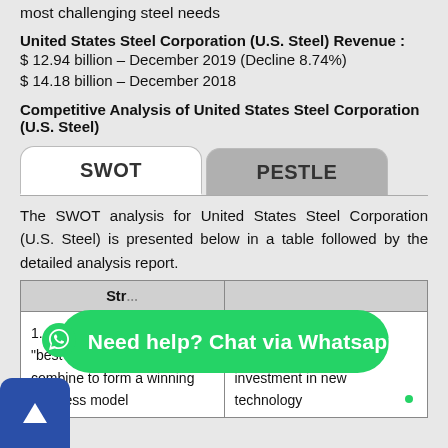most challenging steel needs
United States Steel Corporation (U.S. Steel) Revenue :
$ 12.94 billion – December 2019 (Decline 8.74%)
$ 14.18 billion – December 2018
Competitive Analysis of United States Steel Corporation (U.S. Steel)
The SWOT analysis for United States Steel Corporation (U.S. Steel) is presented below in a table followed by the detailed analysis report.
| Str... |  |
| --- | --- |
| 1. S.T.E.E.L. principles and "best of both" strategy combine to form a winning business model | 1. High Risk of failing to generate profit from investment in new technology |